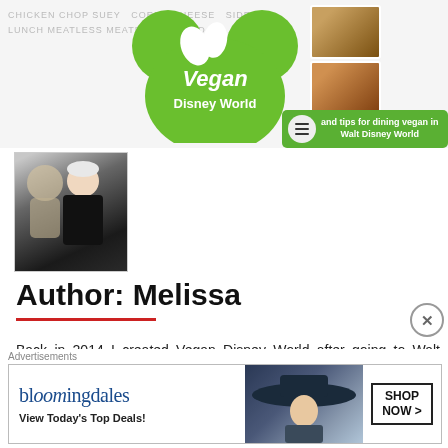[Figure (logo): Vegan Disney World logo - green Mickey Mouse ears with leaf design and text 'Vegan Disney World', plus food photos strip and green tagline bar reading 'and tips for dining vegan in Walt Disney World']
[Figure (photo): Author photo showing a woman in a black tank top posing with a Disney character]
Author: Melissa
Back in 2014 I created Vegan Disney World after going to Walt Disney World several times and finding no resource for vegan options. Corey and I began this blog from our trips and have now moved closer to the mouse to eat around the
Advertisements
[Figure (screenshot): Bloomingdale's advertisement banner showing 'bloomingdales View Today's Top Deals!' with a woman in a wide-brim hat and 'SHOP NOW >' button]